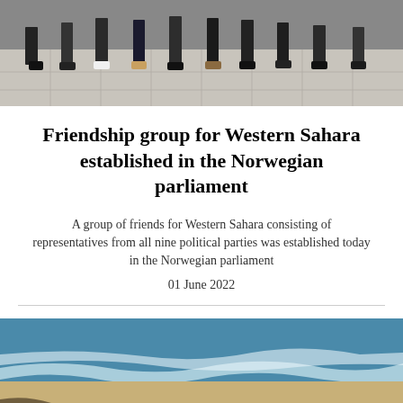[Figure (photo): Group of people standing on a tiled floor, showing lower bodies and feet only]
Friendship group for Western Sahara established in the Norwegian parliament
A group of friends for Western Sahara consisting of representatives from all nine political parties was established today in the Norwegian parliament
01 June 2022
[Figure (photo): Aerial view of a beach with ocean waves, boats on shore, sandy beach with tracks and people visible]